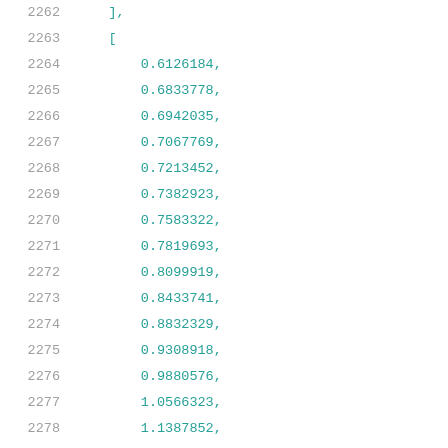2262    ],
2263    [
2264        0.6126184,
2265        0.6833778,
2266        0.6942035,
2267        0.7067769,
2268        0.7213452,
2269        0.7382923,
2270        0.7583322,
2271        0.7819693,
2272        0.8099919,
2273        0.8433741,
2274        0.8832329,
2275        0.9308918,
2276        0.9880576,
2277        1.0566323,
2278        1.1387852,
2279        1.2375793
2280    ],
2281    [
2282        0.6237107,
2283        0.694508,